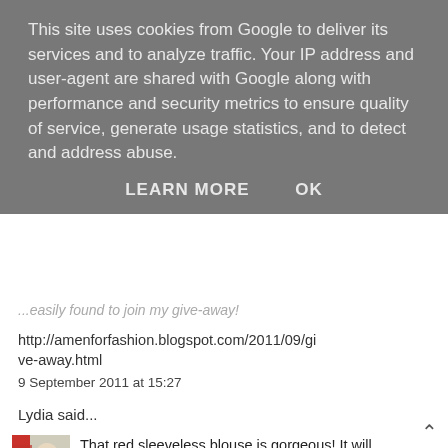This site uses cookies from Google to deliver its services and to analyze traffic. Your IP address and user-agent are shared with Google along with performance and security metrics to ensure quality of service, generate usage statistics, and to detect and address abuse.
LEARN MORE    OK
...easily found to join my give-away!
http://amenforfashion.blogspot.com/2011/09/give-away.html
9 September 2011 at 15:27
Lydia said...
That red sleeveless blouse is gorgeous! It will definitely suite you!
The leopard print boots and the zebra print shorts are so punk! Ha!

Thank you very much for commenting

Lydia xxx
http://lydia-floralandtheglam.blogspot.com/
9 September 2011 at 15:57